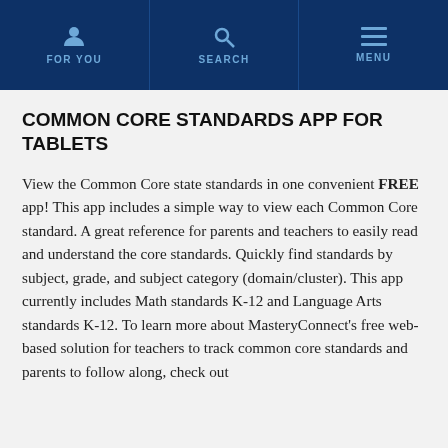FOR YOU | SEARCH | MENU
COMMON CORE STANDARDS APP FOR TABLETS
View the Common Core state standards in one convenient FREE app! This app includes a simple way to view each Common Core standard. A great reference for parents and teachers to easily read and understand the core standards. Quickly find standards by subject, grade, and subject category (domain/cluster). This app currently includes Math standards K-12 and Language Arts standards K-12. To learn more about MasteryConnect's free web-based solution for teachers to track common core standards and parents to follow along, check out MasteryConnect and their...